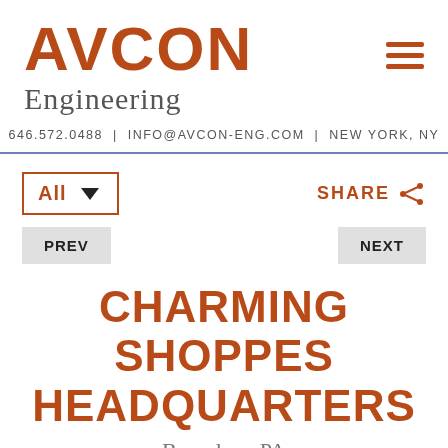AVCON Engineering
646.572.0488 | INFO@AVCON-ENG.COM | NEW YORK, NY
All ▼
SHARE
PREV
NEXT
CHARMING SHOPPES HEADQUARTERS
Bensalem, PA